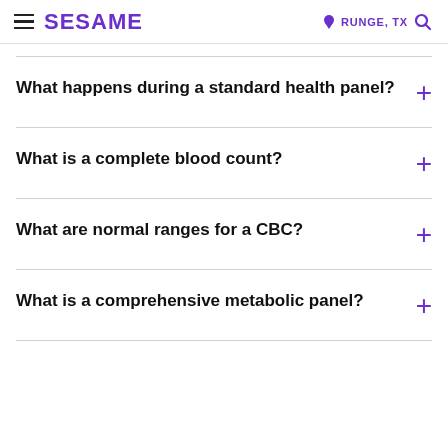SESAME | RUNGE, TX
What happens during a standard health panel?
What is a complete blood count?
What are normal ranges for a CBC?
What is a comprehensive metabolic panel?